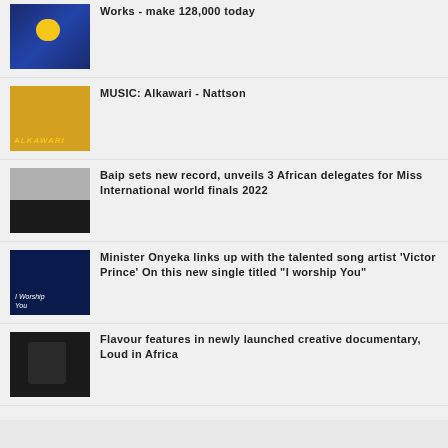Works - make 128,000 today
MUSIC: Alkawari - Nattson
Baip sets new record, unveils 3 African delegates for Miss International world finals 2022
Minister Onyeka links up with the talented song artist 'Victor Prince' On this new single titled "I worship You"
Flavour features in newly launched creative documentary, Loud in Africa